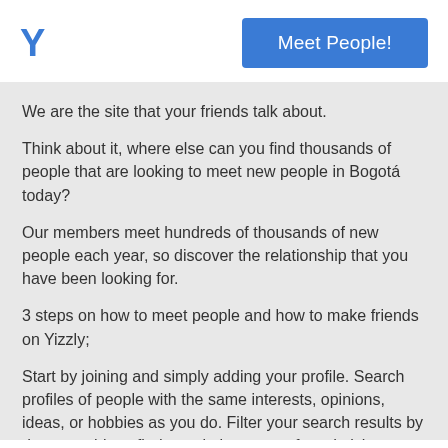Y
[Figure (other): Blue 'Meet People!' button]
We are the site that your friends talk about.
Think about it, where else can you find thousands of people that are looking to meet new people in Bogotá today?
Our members meet hundreds of thousands of new people each year, so discover the relationship that you have been looking for.
3 steps on how to meet people and how to make friends on Yizzly;
Start by joining and simply adding your profile. Search profiles of people with the same interests, opinions, ideas, or hobbies as you do. Filter your search results by demographic to find people in your preferred niches. Meet